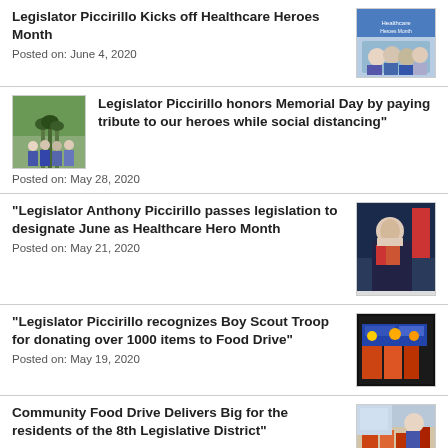Legislator Piccirillo Kicks off Healthcare Heroes Month
Posted on: June 4, 2020
[Figure (photo): Healthcare Heroes Month promotional image with group of medical professionals]
[Figure (photo): Group of people walking outdoors during Memorial Day tribute]
Legislator Piccirillo honors Memorial Day by paying tribute to our heroes while social distancing"
Posted on: May 28, 2020
"Legislator Anthony Piccirillo passes legislation to designate June as Healthcare Hero Month
Posted on: May 21, 2020
[Figure (photo): Legislator Anthony Piccirillo portrait in suit with American flag]
"Legislator Piccirillo recognizes Boy Scout Troop for donating over 1000 items to Food Drive"
Posted on: May 19, 2020
[Figure (photo): Food drive donation items]
Community Food Drive Delivers Big for the residents of the 8th Legislative District"
[Figure (photo): Community food drive event photo]